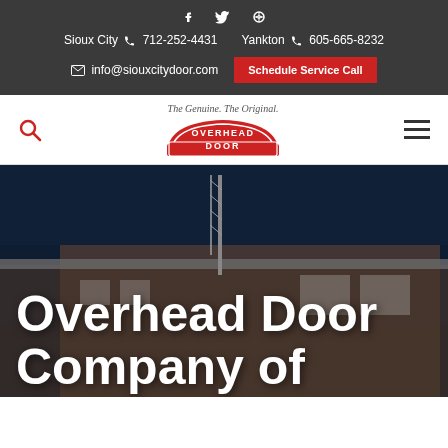Social icons: f, Twitter, Google+
Sioux City 712-252-4431  Yankton 605-665-8232
info@siouxcitydoor.com  Schedule Service Call
[Figure (logo): Overhead Door logo with tagline 'The Genuine. The Original.' and red arched banner logo]
Overhead Door Company of Sioux City...